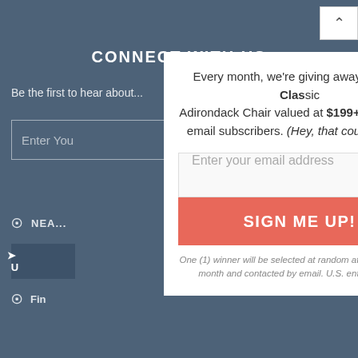CONNECT WITH US
Be the first to hear about new products, events, and more!
Enter Your Email Address
Every month, we're giving away a FREE Classic Adirondack Chair valued at $199+ to one of our email subscribers. (Hey, that could be you!)
Enter your email address
SIGN ME UP!
One (1) winner will be selected at random at the end of every month and contacted by email. U.S. entrants only.
NEAREST STORE
USE MY LOCATION
Find a Store